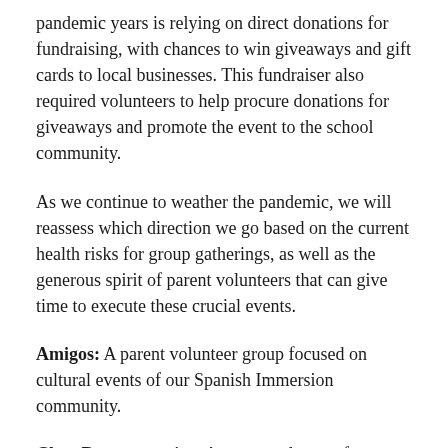pandemic years is relying on direct donations for fundraising, with chances to win giveaways and gift cards to local businesses. This fundraiser also required volunteers to help procure donations for giveaways and promote the event to the school community.
As we continue to weather the pandemic, we will reassess which direction we go based on the current health risks for group gatherings, as well as the generous spirit of parent volunteers that can give time to execute these crucial events.
Amigos: A parent volunteer group focused on cultural events of our Spanish Immersion community.
Class Representative: A parent volunteer from each class helps to coordinate project, supply, and